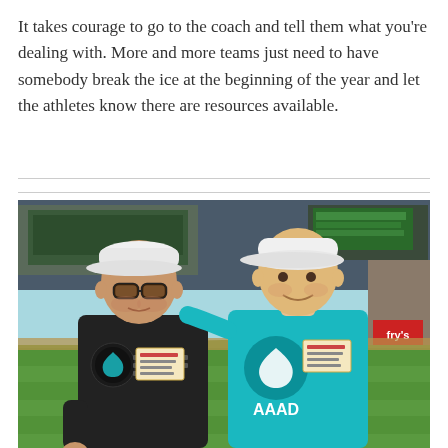It takes courage to go to the coach and tell them what you're dealing with. More and more teams just need to have somebody break the ice at the beginning of the year and let the athletes know there are resources available.
[Figure (photo): Two men posing together on a baseball field. The older man on the left wears a dark/black t-shirt with an 'Athletes Against Anxiety and Depression' logo and a name tag, and a white cap. The younger man on the right wears a teal t-shirt with 'AAAD' branding and a name tag, and a white cap. They are standing on the grass of a baseball stadium.]